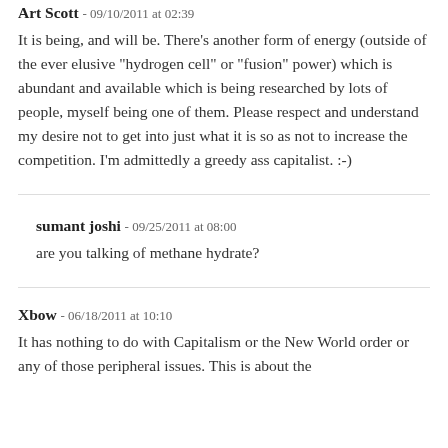Art Scott - 09/10/2011 at 02:39
It is being, and will be. There's another form of energy (outside of the ever elusive "hydrogen cell" or "fusion" power) which is abundant and available which is being researched by lots of people, myself being one of them. Please respect and understand my desire not to get into just what it is so as not to increase the competition. I'm admittedly a greedy ass capitalist. :-)
sumant joshi - 09/25/2011 at 08:00
are you talking of methane hydrate?
Xbow - 06/18/2011 at 10:10
It has nothing to do with Capitalism or the New World order or any of those peripheral issues. This is about the